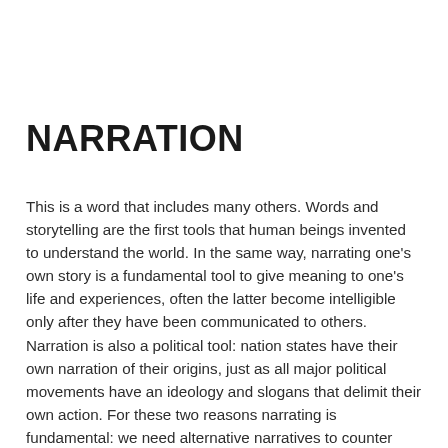NARRATION
This is a word that includes many others. Words and storytelling are the first tools that human beings invented to understand the world. In the same way, narrating one's own story is a fundamental tool to give meaning to one's life and experiences, often the latter become intelligible only after they have been communicated to others. Narration is also a political tool: nation states have their own narration of their origins, just as all major political movements have an ideology and slogans that delimit their own action. For these two reasons narrating is fundamental: we need alternative narratives to counter apathy and the flattening of minds in the comfort of a single and unified vision. For example, talking about cultural syncretism and the centrality of the Mediterranean Sea, already in ancient times, in order to refute those who want us to believe that Italians have